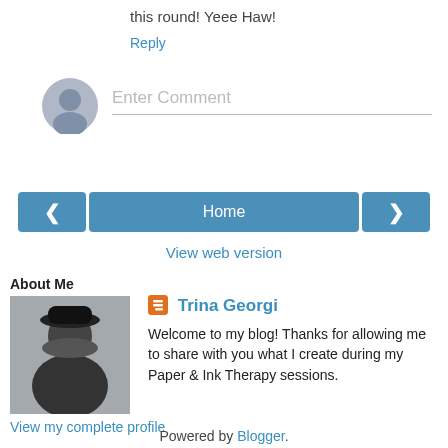this round! Yeee Haw!
Reply
Enter Comment
< Home >
View web version
About Me
Trina Georgi
Welcome to my blog! Thanks for allowing me to share with you what I create during my Paper & Ink Therapy sessions.
View my complete profile
Powered by Blogger.